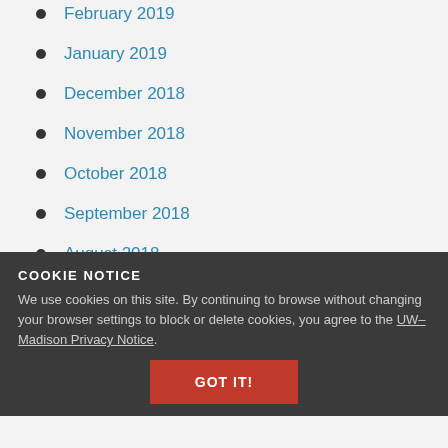February 2019
January 2019
December 2018
November 2018
October 2018
September 2018
August 2018
COOKIE NOTICE
We use cookies on this site. By continuing to browse without changing your browser settings to block or delete cookies, you agree to the UW–Madison Privacy Notice.
April 2018
March 2018